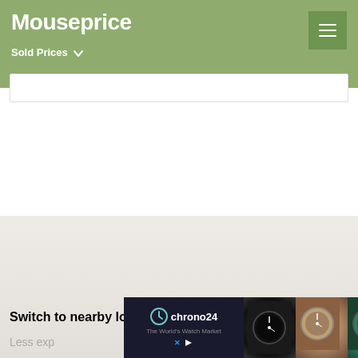Mouseprice — Sold Prices
[Figure (screenshot): Map/content area showing property data for a location, mostly blank/loading state]
Switch to nearby locations
Less exp
[Figure (other): Chrono24 advertisement banner with watch images]